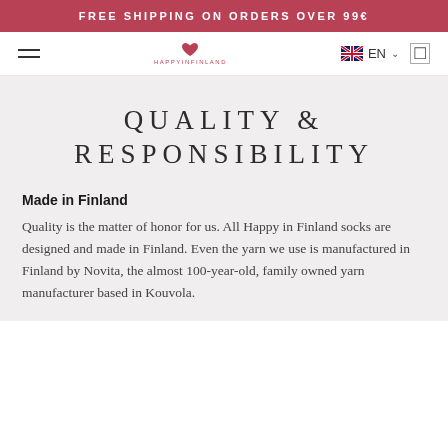FREE SHIPPING ON ORDERS OVER 99€
[Figure (logo): Happy in Finland logo with heart icon and hamburger menu, EN language selector with UK flag]
QUALITY & RESPONSIBILITY
Made in Finland
Quality is the matter of honor for us. All Happy in Finland socks are designed and made in Finland. Even the yarn we use is manufactured in Finland by Novita, the almost 100-year-old, family owned yarn manufacturer based in Kouvola.